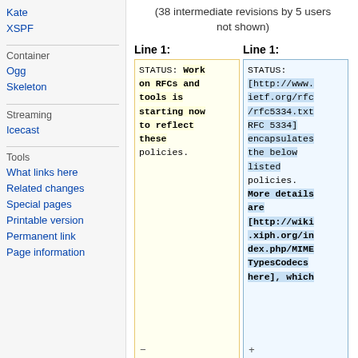Kate
XSPF
Container
Ogg
Skeleton
Streaming
Icecast
Tools
What links here
Related changes
Special pages
Printable version
Permanent link
Page information
(38 intermediate revisions by 5 users not shown)
Line 1:
Line 1:
STATUS: Work on RFCs and tools is starting now to reflect these policies.
STATUS: [http://www.ietf.org/rfc/rfc5334.txt RFC 5334] encapsulates the below listed policies. More details are [http://wiki.xiph.org/index.php/MIMETypesCodecs here], which